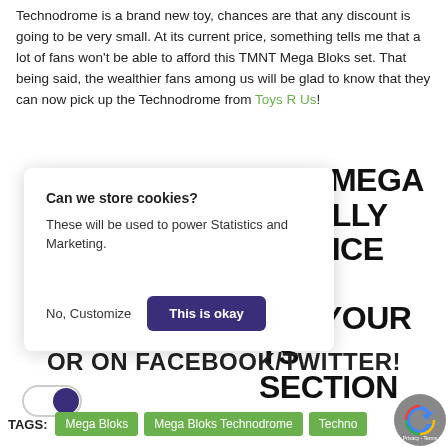Technodrome is a brand new toy, chances are that any discount is going to be very small. At its current price, something tells me that a lot of fans won't be able to afford this TMNT Mega Bloks set. That being said, the wealthier fans among us will be glad to know that they can now pick up the Technodrome from Toys R Us!
[Figure (screenshot): Cookie consent popup with title 'Can we store cookies?', body text 'These will be used to power Statistics and Marketing.', and two buttons: 'No, Customize' and 'This is okay']
THE MEGA FINALLY S PRICE TAG OW YOUR TS SECTION OR ON FACEBOOK/TWITTER!
[Figure (other): Toggle switch button, purple knob on right]
TAGS: Mega Bloks  Mega Bloks Technodrome  Techno...
[Figure (logo): reCAPTCHA badge with Google logo]